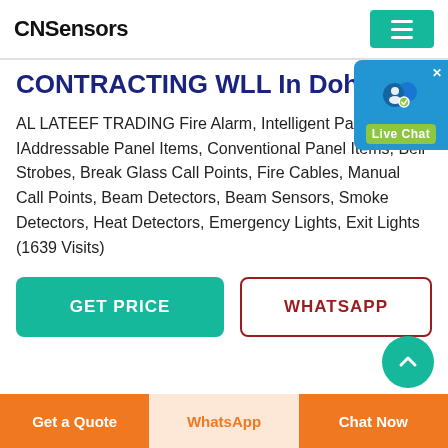CNSensors
CONTRACTING WLL In Doha, Qa
AL LATEEF TRADING Fire Alarm, Intelligent Panel Items, Addressable Panel Items, Conventional Panel Items, Bell Strobes, Break Glass Call Points, Fire Cables, Manual Call Points, Beam Detectors, Beam Sensors, Smoke Detectors, Heat Detectors, Emergency Lights, Exit Lights (1639 Visits)
[Figure (other): Live Chat popup bubble with user icon and green Live Chat label]
[Figure (other): GET PRICE teal button and WHATSAPP outlined red button]
[Figure (other): Scroll to top teal circular button partially visible]
Get a Quote | WhatsApp | Chat Now